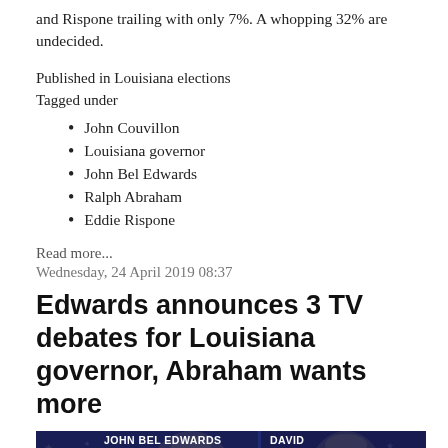and Rispone trailing with only 7%. A whopping 32% are undecided.
Published in Louisiana elections
Tagged under
John Couvillon
Louisiana governor
John Bel Edwards
Ralph Abraham
Eddie Rispone
Read more...
Wednesday, 24 April 2019 08:37
Edwards announces 3 TV debates for Louisiana governor, Abraham wants more
[Figure (photo): TV debate screenshot showing JOHN BEL EDWARDS on the left panel and DAVID on the right panel, with a blue patriotic star background]